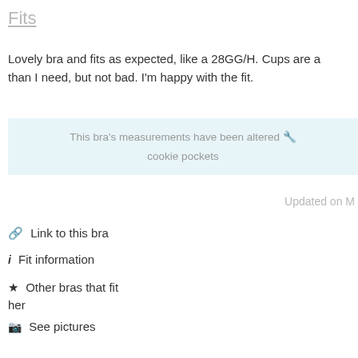Fits
Lovely bra and fits as expected, like a 28GG/H. Cups are a than I need, but not bad. I'm happy with the fit.
This bra's measurements have been altered 🔧 cookie pockets
Updated on M
🔗 Link to this bra
ℹ Fit information
★ Other bras that fit her
📷 See pictures
Quality
♥ ♥ ♥ ♥ ♥ Excellent!
Comfort
♥ ♥ ♥ ♥ ♥ Excellent!
Bra appearance